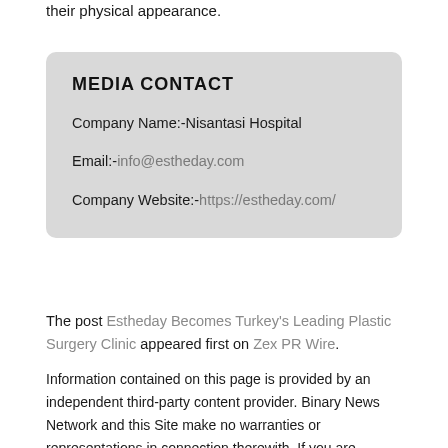their physical appearance.
MEDIA CONTACT
Company Name:-Nisantasi Hospital
Email:-info@estheday.com
Company Website:-https://estheday.com/
The post Estheday Becomes Turkey's Leading Plastic Surgery Clinic appeared first on Zex PR Wire.
Information contained on this page is provided by an independent third-party content provider. Binary News Network and this Site make no warranties or representations in connection therewith. If you are affiliated with this page and would like it removed please contact